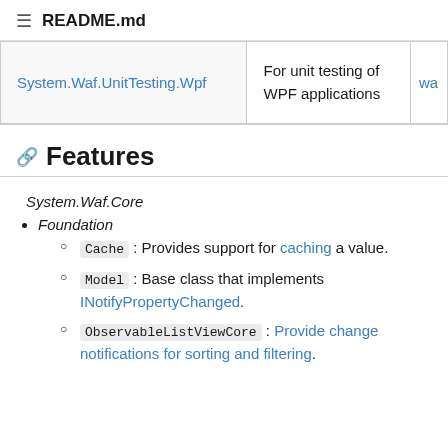README.md
| Package | Description | Link |
| --- | --- | --- |
| System.Waf.UnitTesting.Wpf | For unit testing of WPF applications | wa... |
Features
System.Waf.Core
Foundation
Cache : Provides support for caching a value.
Model : Base class that implements INotifyPropertyChanged.
ObservableListViewCore : Provide change notifications for sorting and filtering.